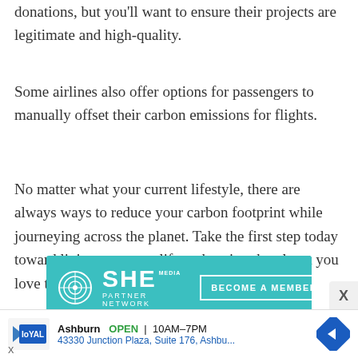donations, but you'll want to ensure their projects are legitimate and high-quality.
Some airlines also offer options for passengers to manually offset their carbon emissions for flights.
No matter what your current lifestyle, there are always ways to reduce your carbon footprint while journeying across the planet. Take the first step today toward living a greener life and saving the planet you love to explore!
[Figure (infographic): SHE Media Partner Network advertisement banner in teal/aqua color with 'BECOME A MEMBER' button and 'Earning site & social' text below]
[Figure (infographic): Bottom advertisement bar for Loyal navigation app showing Ashburn location, OPEN 10AM-7PM, address 43330 Junction Plaza Suite 176, with blue diamond navigation icon]